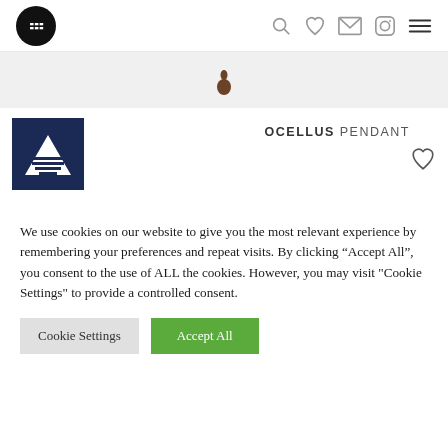[Figure (screenshot): Navigation bar with logo (BB monogram in black circle), search icon, heart/wishlist icon, envelope/email icon, Instagram icon, and hamburger menu icon]
[Figure (screenshot): Grey banner with a small brown teardrop/pendant shape in the center]
[Figure (logo): Ocellus brand logo: dark navy square with white downward-pointing triangle and horizontal stripes]
OCELLUS PENDANT
We use cookies on our website to give you the most relevant experience by remembering your preferences and repeat visits. By clicking “Accept All”, you consent to the use of ALL the cookies. However, you may visit "Cookie Settings" to provide a controlled consent.
Cookie Settings | Accept All